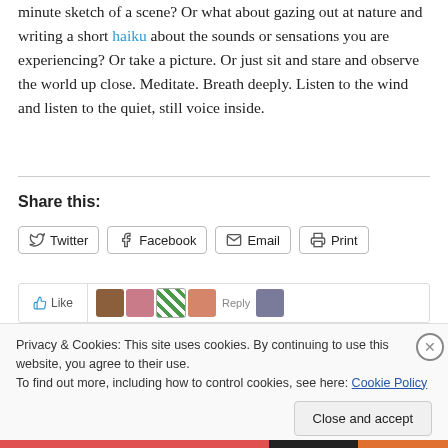minute sketch of a scene? Or what about gazing out at nature and writing a short haiku about the sounds or sensations you are experiencing? Or take a picture. Or just sit and stare and observe the world up close. Meditate. Breath deeply. Listen to the wind and listen to the quiet, still voice inside.
Share this:
[Figure (screenshot): Social sharing buttons: Twitter, Facebook, Email, Print]
[Figure (screenshot): Likes/avatars bar with thumbnail images]
Privacy & Cookies: This site uses cookies. By continuing to use this website, you agree to their use.
To find out more, including how to control cookies, see here: Cookie Policy